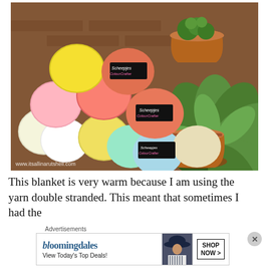[Figure (photo): Colorful balls of yarn (Scheepjes ColourCrafter brand) in yellow, coral/red, pink, white, green, mint/teal colors, piled together with terracotta pots containing succulent plants in the background. Brick wall visible. Watermark: www.itsallinarutshell.com]
This blanket is very warm because I am using the yarn double stranded. This meant that sometimes I had the
Advertisements
[Figure (screenshot): Bloomingdale's advertisement banner. Shows 'bloomingdales' logo in stylized text, 'View Today's Top Deals!' text, image of woman in hat, and 'SHOP NOW >' button in bordered box.]